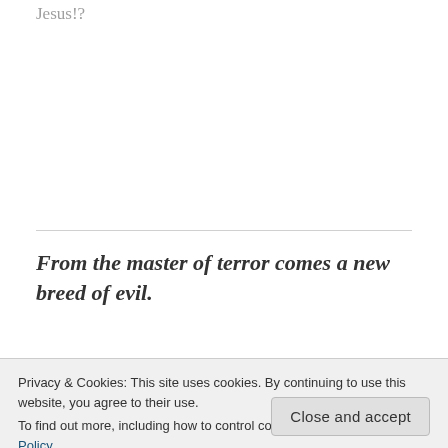Jesus!?
From the master of terror comes a new breed of evil.
Privacy & Cookies: This site uses cookies. By continuing to use this website, you agree to their use.
To find out more, including how to control cookies, see here: Cookie Policy
Close and accept